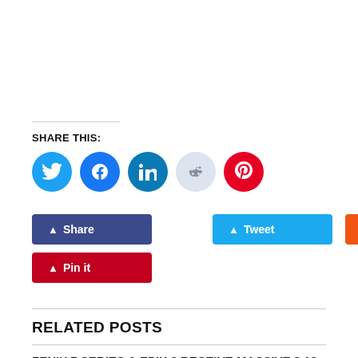SHARE THIS:
[Figure (infographic): Row of five social media icon circles: Twitter (blue), Facebook (blue), LinkedIn (dark teal), Reddit (light grey/blue), Pinterest (red)]
[Figure (infographic): Share buttons row: Share (dark blue), Tweet (cyan), Reddit (orange), and Pin it (red) buttons]
RELATED POSTS
FENIX 7 SERIES & EPIX 2 RECEIVE MASSIVE 8.13 BETA UPDATE
Madhav Biradar    April 11, 2022